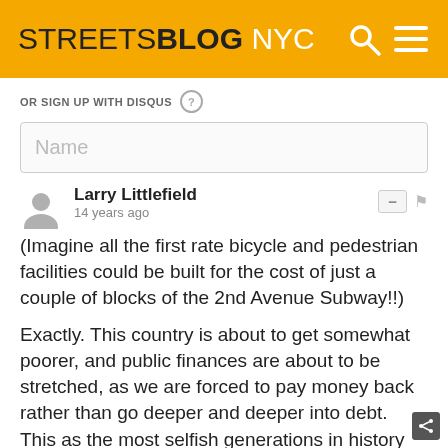STREETSBLOG NYC
OR SIGN UP WITH DISQUS
Name
Larry Littlefield
14 years ago
(Imagine all the first rate bicycle and pedestrian facilities could be built for the cost of just a couple of blocks of the 2nd Avenue Subway!!)
Exactly. This country is about to get somewhat poorer, and public finances are about to be stretched, as we are forced to pay money back rather than go deeper and deeper into debt. This as the most selfish generations in history transfer more and more money to themselves.
So the MTA makes promises for 40 years from now. Right.
In the meantime, my daughter took 1-1/2 hours to get home